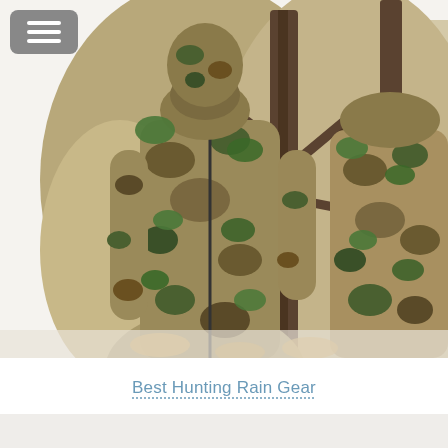[Figure (photo): Two people wearing camouflage hunting jackets and pants in a Realtree-style leaf and branch pattern. The camo pattern features greens, tans, and browns mimicking foliage. One figure faces forward showing a full zip-front jacket, the other is partially visible on the right side.]
Best Hunting Rain Gear